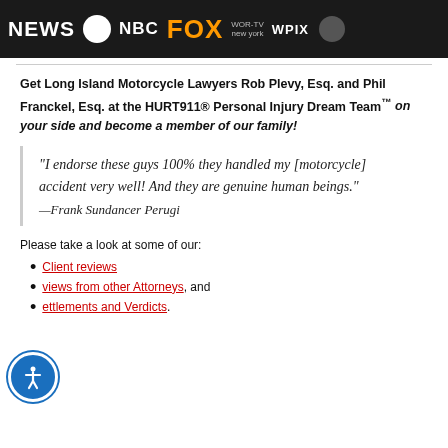NEWS NBC FOX WOR-TV new york WPIX
Get Long Island Motorcycle Lawyers Rob Plevy, Esq. and Phil Franckel, Esq. at the HURT911® Personal Injury Dream Team™ on your side and become a member of our family!
“I endorse these guys 100% they handled my [motorcycle] accident very well! And they are genuine human beings.” —Frank Sundancer Perugi
Please take a look at some of our:
Client reviews
Reviews from other Attorneys, and
Settlements and Verdicts.